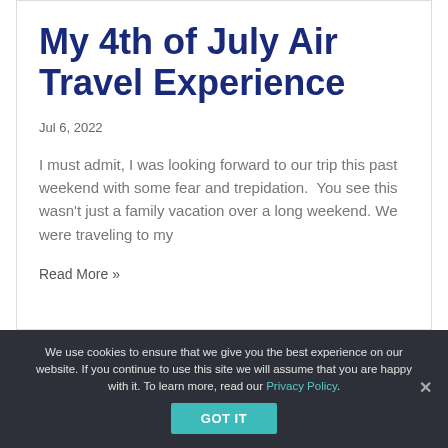My 4th of July Air Travel Experience
Jul 6, 2022
I must admit, I was looking forward to our trip this past weekend with some fear and trepidation.  You see this wasn't just a family vacation over a long weekend. We were traveling to my
Read More »
We use cookies to ensure that we give you the best experience on our website. If you continue to use this site we will assume that you are happy with it. To learn more, read our Privacy Policy.
GOT IT